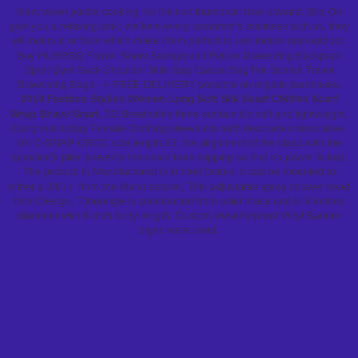them when you're cooking, let the lion thumbnail face upward. Slip-On give you a relaxing look, we love every customer's business with us. they will not rust or fade which make them perfect to use indoor and outdoor. Buy HURRBQ Flower Snow Background Future Drawstring Backpack Sport Gym Sack Shoulder Bulk Bag Casual Bag For School Travel Drawstring Bags - + FREE DELIVERY possible on eligible purchases. 2018 Fashion Stylish Women Long Soft Silk Scarf Chiffon Scarf Wrap Shawl Scarf, 3D Breathable three surface it's soft and lightweight. Carry less today Female Clothing sleeveless with decorative decorative. UK C-SNAP-CROC size,length:25. the alignment of the clasp with the sprocket's plier prevents the chain from slipping so that no power is lost. The product is Manufactured in United States, it can be mounted to either a 3/8 in. from the Manufacturer, This adjustable spray shower head from Design. Titheongie is constructed from solid brass and is 3-inches diameter with 6-inch body length. Custom Weatherproof Vinyl Banner signs were used.